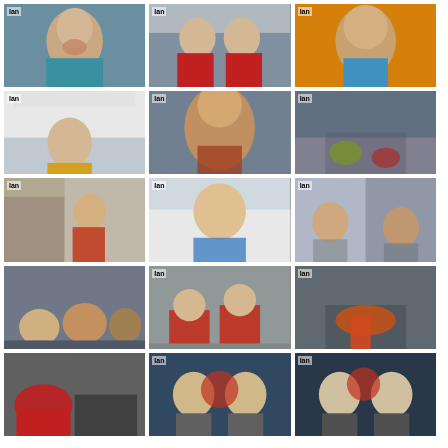[Figure (photo): Close-up of a smiling young male runner, wearing a teal/blue top, blurred background]
[Figure (photo): Two celebrating runners in red bibs raising fists, urban background]
[Figure (photo): Close-up of smiling curly-haired male runner, orange/yellow background]
[Figure (photo): Runner holding Salomon finish tape banner arms raised]
[Figure (photo): Close-up intense face of a sweaty male runner]
[Figure (photo): Runners' legs and feet at finish, green shoes visible, rainy]
[Figure (photo): Male runner in race bib running through urban street]
[Figure (photo): Female runner celebrating victory with arms raised, finish banner]
[Figure (photo): Two young male runners resting, sitting against wall]
[Figure (photo): Group of athletes sitting on ground resting after race, urban setting]
[Figure (photo): Athletes in red/orange gear sitting on wet pavement resting]
[Figure (photo): Close-up of runner's legs and feet with orange/red shoes and compression socks]
[Figure (photo): Close-up of red gloves/hands and running gear]
[Figure (photo): Two male athletes posing with Sky Runner World Series trophy/medal]
[Figure (photo): Two male athletes posing with Sky Runner World Series logo]